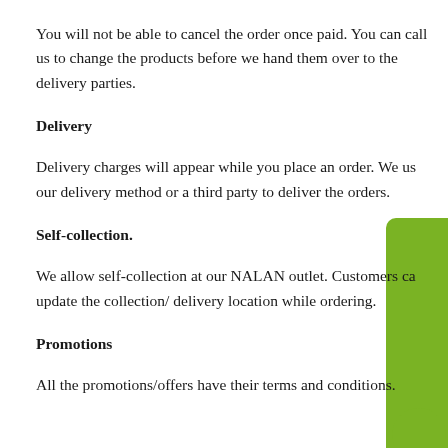You will not be able to cancel the order once paid. You can call us to change the products before we hand them over to the delivery parties.
Delivery
Delivery charges will appear while you place an order. We use our delivery method or a third party to deliver the orders.
Self-collection.
We allow self-collection at our NALAN outlet. Customers can update the collection/ delivery location while ordering.
Promotions
All the promotions/offers have their terms and conditions.